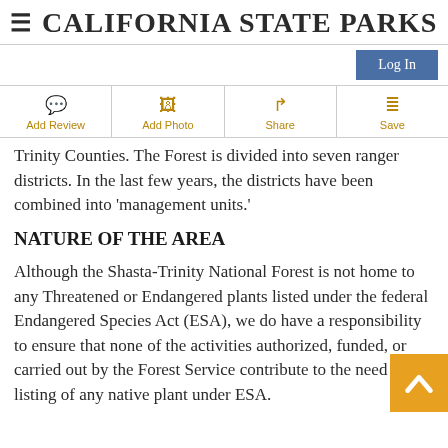☰ CALIFORNIA STATE PARKS
Log In
Add Review
Add Photo
Share
Save
Trinity Counties. The Forest is divided into seven ranger districts. In the last few years, the districts have been combined into 'management units.'
NATURE OF THE AREA
Although the Shasta-Trinity National Forest is not home to any Threatened or Endangered plants listed under the federal Endangered Species Act (ESA), we do have a responsibility to ensure that none of the activities authorized, funded, or carried out by the Forest Service contribute to the need for listing of any native plant under ESA.